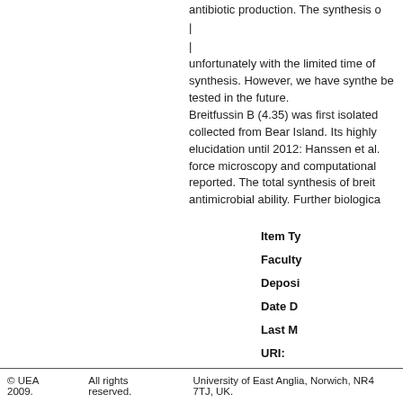antibiotic production. The synthesis o
|
|
unfortunately with the limited time of synthesis. However, we have synthe be tested in the future.
Breitfussin B (4.35) was first isolated collected from Bear Island. Its highly elucidation until 2012: Hanssen et al. force microscopy and computational reported. The total synthesis of breit antimicrobial ability. Further biologica
| Field | Value |
| --- | --- |
| Item Ty |  |
| Faculty |  |
| Deposi |  |
| Date D |  |
| Last M |  |
| URI: |  |
| DOI: |  |
Actions (login required)
© UEA 2009.    All rights reserved.    University of East Anglia, Norwich, NR4 7TJ, UK.